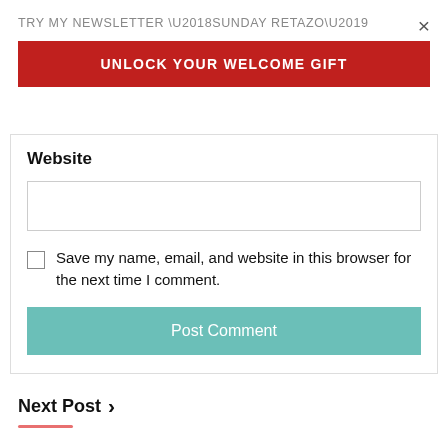TRY MY NEWSLETTER ‘SUNDAY RETAZO’
×
UNLOCK YOUR WELCOME GIFT
Website
Save my name, email, and website in this browser for the next time I comment.
Post Comment
Next Post ›